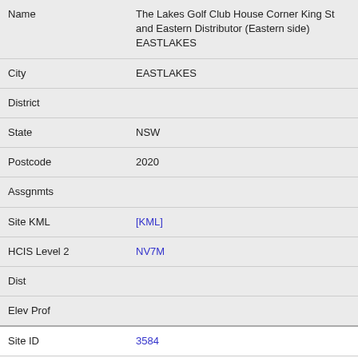| Name | The Lakes Golf Club House Corner King St and Eastern Distributor (Eastern side) EASTLAKES |
| City | EASTLAKES |
| District |  |
| State | NSW |
| Postcode | 2020 |
| Assgnmts |  |
| Site KML | [KML] |
| HCIS Level 2 | NV7M |
| Dist |  |
| Elev Prof |  |
| Site ID | 3584 |
| Name | 14 Wentworth Ave PAGEWOOD |
| City | PAGEWOOD |
| District |  |
| State | NSW |
| Postcode | 2020 |
| Assgnmts |  |